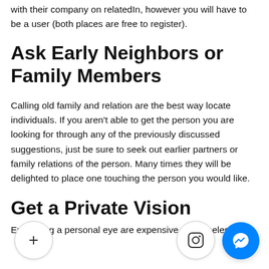with their company on relatedIn, however you will have to be a user (both places are free to register).
Ask Early Neighbors or Family Members
Calling old family and relation are the best way locate individuals. If you aren't able to get the person you are looking for through any of the previously discussed suggestions, just be sure to seek out earlier partners or family relations of the person. Many times they will be delighted to place one touching the person you would like.
Get a Private Vision
Employing a personal eye are expensive, nonetheless it is